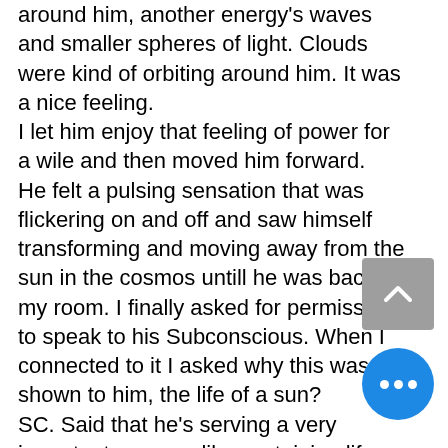around him, another energy's waves and smaller spheres of light. Clouds were kind of orbiting around him. It was a nice feeling. I let him enjoy that feeling of power for a wile and then moved him forward. He felt a pulsing sensation that was flickering on and off and saw himself transforming and moving away from the sun in the cosmos untill he was back in my room. I finally asked for permission to speak to his Subconscious. When I connected to it I asked why this was shown to him, the life of a sun? SC. Said that he's serving a very important purpose like sustaining life and provide light, warmth. One of J.'s questions was why he a strong connection to Pleiades